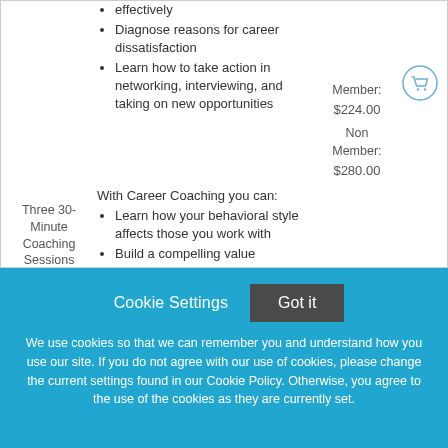effectively
Diagnose reasons for career dissatisfaction
Learn how to take action in networking, interviewing, and taking on new opportunities
Three 30-Minute Coaching Sessions
With Career Coaching you can:
Learn how your behavioral style affects those you work with
Build a compelling value proposition for a potential
Member: $224.00
Non Member: $280.00
Cookie Settings
Got it
We use cookies so that we can remember you and understand how you use our site. If you do not agree with our use of cookies, please change the current settings found in our Cookie Policy. Otherwise, you agree to the use of the cookies as they are currently set.